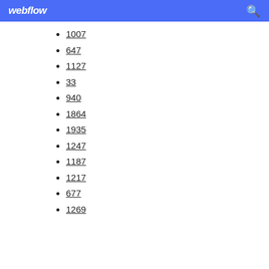webflow
1007
647
1127
33
940
1864
1935
1247
1187
1217
677
1269